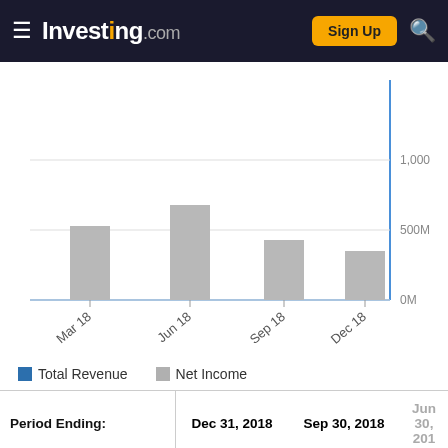Investing.com — Sign Up
[Figure (bar-chart): Total Revenue and Net Income]
| Period Ending: | Dec 31, 2018 | Sep 30, 2018 | Jun 30, 201… |
| --- | --- | --- | --- |
| Total Revenue | 492 | 684 | 108… |
Gross margin TTM -